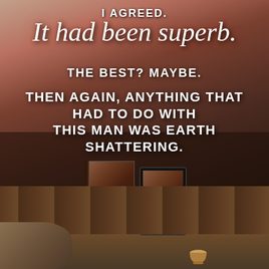[Figure (illustration): Book promotional image with romantic background photo (hands/skin, reddish lighting), overlaid with quote text, and two book cover mockups (physical and tablet) for 'Herd That' by Lani Lynn Vale, plus a rustic wooden scene at the bottom.]
I AGREED.
It had been superb.
THE BEST? MAYBE.
THEN AGAIN, ANYTHING THAT HAD TO DO WITH THIS MAN WAS EARTH SHATTERING.